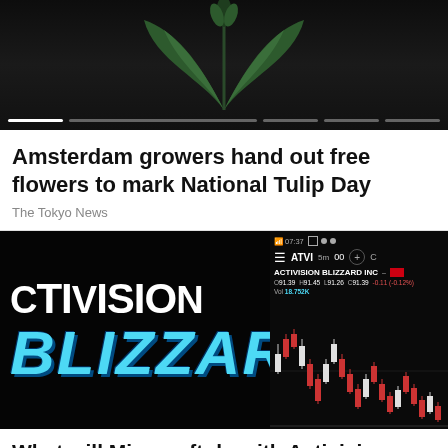[Figure (photo): Dark background photo with green plant leaves at top, with video progress bar segments at the bottom]
Amsterdam growers hand out free flowers to mark National Tulip Day
The Tokyo News
[Figure (photo): Composite image: left side shows Activision Blizzard logo on black background with white Activision text and blue icy Blizzard text; right side shows a stock trading app with ATVI ticker, Activision Blizzard INC stock info (O91.39 H91.45 L91.26 C91.39 -0.11 (-0.12%), Vol 18.752K) and a candlestick chart with red and white candles]
What will Microsoft do with Activision Blizzard